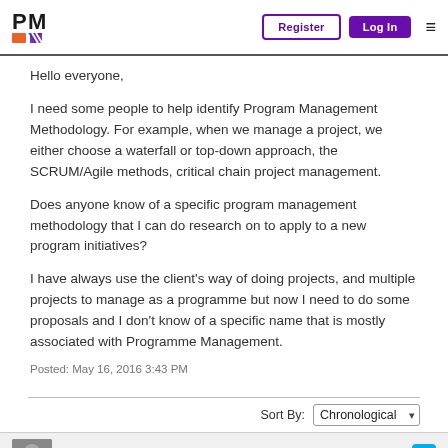PMI logo | Register | Log In
Hello everyone,
I need some people to help identify Program Management Methodology. For example, when we manage a project, we either choose a waterfall or top-down approach, the SCRUM/Agile methods, critical chain project management.
Does anyone know of a specific program management methodology that I can do research on to apply to a new program initiatives?
I have always use the client's way of doing projects, and multiple projects to manage as a programme but now I need to do some proposals and I don't know of a specific name that is mostly associated with Programme Management.
Posted: May 16, 2016 3:43 PM
Sort By: Chronological
Sergio Luis Conte